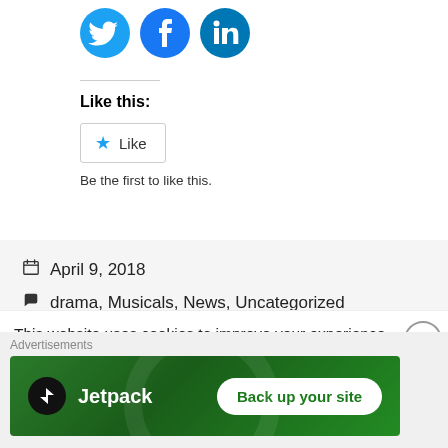[Figure (illustration): Social media share icons: Twitter (bird), Facebook (f), LinkedIn (in) in blue circles]
Like this:
Like
Be the first to like this.
April 9, 2018
drama, Musicals, News, Uncategorized
Emma Clarendon, Olivier Awards
Leave a comment
This website uses cookies to improve your experience. We'll assume
Advertisements
[Figure (illustration): Jetpack advertisement banner with green background, Jetpack logo and 'Back up your site' button]